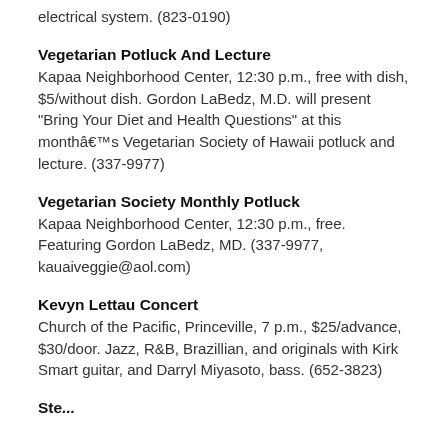electrical system. (823-0190)
Vegetarian Potluck And Lecture
Kapaa Neighborhood Center, 12:30 p.m., free with dish, $5/without dish. Gordon LaBedz, M.D. will present “Bring Your Diet and Health Questions” at this monthâ€™s Vegetarian Society of Hawaii potluck and lecture. (337-9977)
Vegetarian Society Monthly Potluck
Kapaa Neighborhood Center, 12:30 p.m., free. Featuring Gordon LaBedz, MD. (337-9977, kauaiveggie@aol.com)
Kevyn Lettau Concert
Church of the Pacific, Princeville, 7 p.m., $25/advance, $30/door. Jazz, R&B, Brazillian, and originals with Kirk Smart guitar, and Darryl Miyasoto, bass. (652-3823)
Ste...